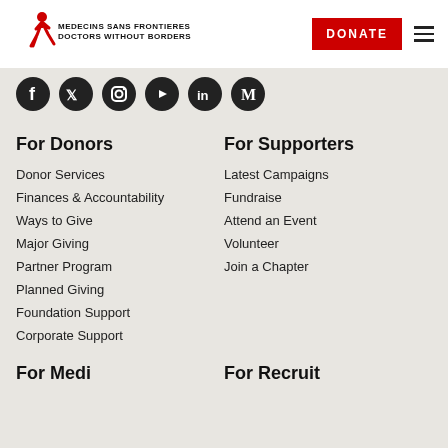[Figure (logo): MSF Médecins Sans Frontières / Doctors Without Borders logo with red running figure and text]
[Figure (infographic): Social media icons: Facebook, Twitter, Instagram, YouTube, LinkedIn, Medium]
For Donors
Donor Services
Finances & Accountability
Ways to Give
Major Giving
Partner Program
Planned Giving
Foundation Support
Corporate Support
For Supporters
Latest Campaigns
Fundraise
Attend an Event
Volunteer
Join a Chapter